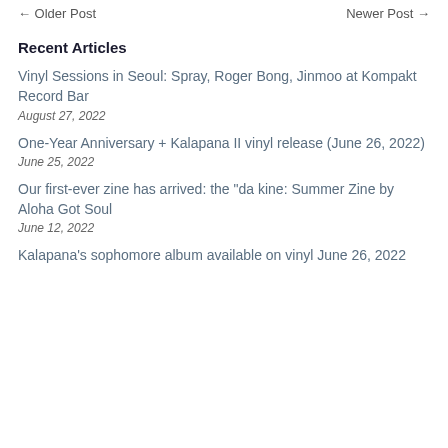← Older Post    Newer Post →
Recent Articles
Vinyl Sessions in Seoul: Spray, Roger Bong, Jinmoo at Kompakt Record Bar
August 27, 2022
One-Year Anniversary + Kalapana II vinyl release (June 26, 2022)
June 25, 2022
Our first-ever zine has arrived: the "da kine: Summer Zine by Aloha Got Soul
June 12, 2022
Kalapana's sophomore album available on vinyl June 26, 2022